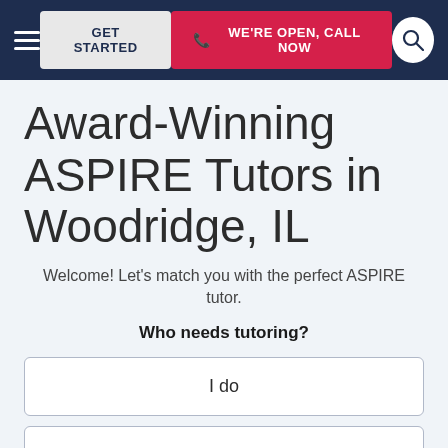GET STARTED | WE'RE OPEN, CALL NOW
Award-Winning ASPIRE Tutors in Woodridge, IL
Welcome! Let's match you with the perfect ASPIRE tutor.
Who needs tutoring?
I do
My child
Someone else